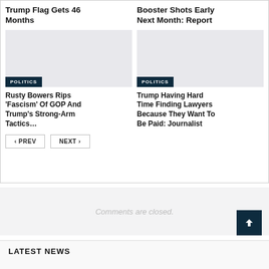Trump Flag Gets 46 Months
Booster Shots Early Next Month: Report
[Figure (photo): Placeholder image for article about Rusty Bowers with POLITICS badge]
[Figure (photo): Placeholder image for article about Trump lawyers with POLITICS badge]
Rusty Bowers Rips 'Fascism' Of GOP And Trump's Strong-Arm Tactics...
Trump Having Hard Time Finding Lawyers Because They Want To Be Paid: Journalist
PREV  NEXT
Comments are closed.
LATEST NEWS